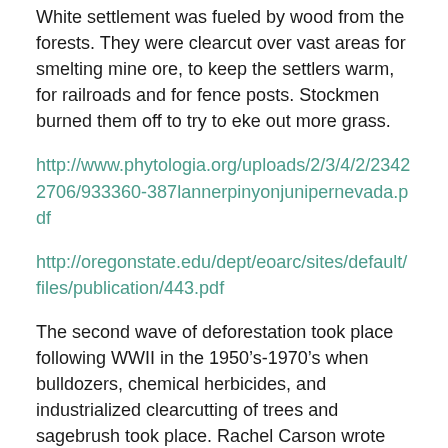White settlement was fueled by wood from the forests. They were clearcut over vast areas for smelting mine ore, to keep the settlers warm, for railroads and for fence posts. Stockmen burned them off to try to eke out more grass.
http://www.phytologia.org/uploads/2/3/4/2/23422706/933360-387lannerpinyonjunipernevada.pdf
http://oregonstate.edu/dept/eoarc/sites/default/files/publication/443.pdf
The second wave of deforestation took place following WWII in the 1950’s-1970’s when bulldozers, chemical herbicides, and industrialized clearcutting of trees and sagebrush took place. Rachel Carson wrote about the western public lands herbicide campaigns in Silent Spring.
Trees (and sage) were killed to produce grass forage for privately owned livestock grazing the public’s land at